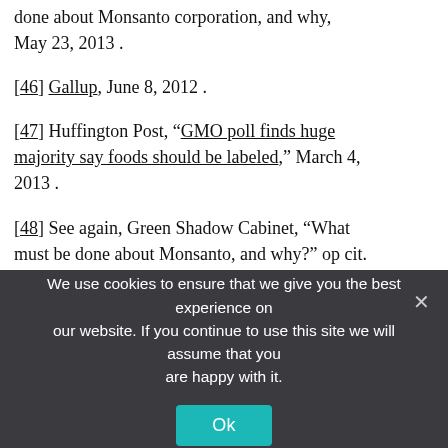done about Monsanto corporation, and why, May 23, 2013.
[46] Gallup, June 8, 2012.
[47] Huffington Post, “GMO poll finds huge majority say foods should be labeled,” March 4, 2013.
[48] See again, Green Shadow Cabinet, “What must be done about Monsanto, and why?” op cit.
[49] Eg. Jennifer Duggan, “Kunming pollution is the tip of rising Chinese environmental activism,” The Guardian blog post May 16, 2013.
We use cookies to ensure that we give you the best experience on our website. If you continue to use this site we will assume that you are happy with it.